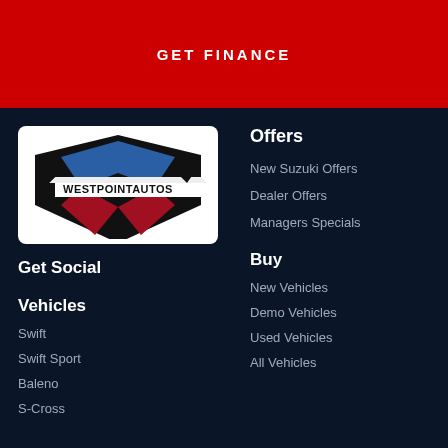GET FINANCE
[Figure (logo): Westpoint Autos logo — shield shape with blue and red geometric segments and bold text WESTPOINTAUTOS]
Get Social
Offers
New Suzuki Offers
Dealer Offers
Managers Specials
Vehicles
Buy
Swift
New Vehicles
Swift Sport
Demo Vehicles
Baleno
Used Vehicles
S-Cross
All Vehicles